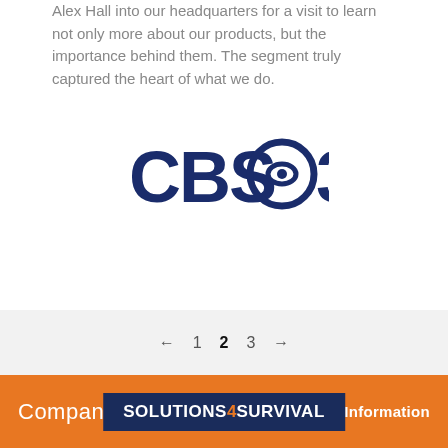Alex Hall into our headquarters for a visit to learn not only more about our products, but the importance behind them. The segment truly captured the heart of what we do.
[Figure (logo): CBS3 television network logo in dark navy blue]
Read more
← 1 2 3 →
Company   SOLUTIONS4SURVIVAL   Request Information